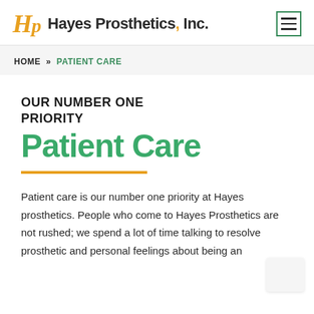Hayes Prosthetics, Inc.
HOME » PATIENT CARE
OUR NUMBER ONE PRIORITY
Patient Care
Patient care is our number one priority at Hayes prosthetics. People who come to Hayes Prosthetics are not rushed; we spend a lot of time talking to resolve prosthetic and personal feelings about being an